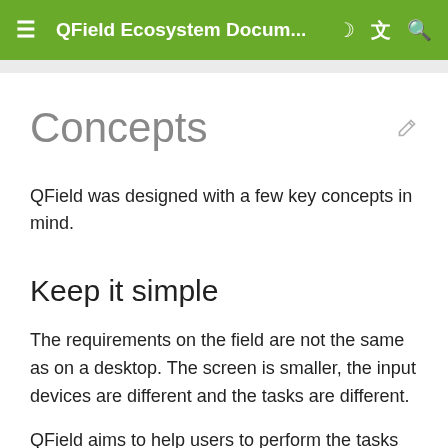QField Ecosystem Docum...
Concepts
QField was designed with a few key concepts in mind.
Keep it simple
The requirements on the field are not the same as on a desktop. The screen is smaller, the input devices are different and the tasks are different.
QField aims to help users to perform the tasks they need to do without cluttering the user interface. This means, that only the right tools are shown to the field user till